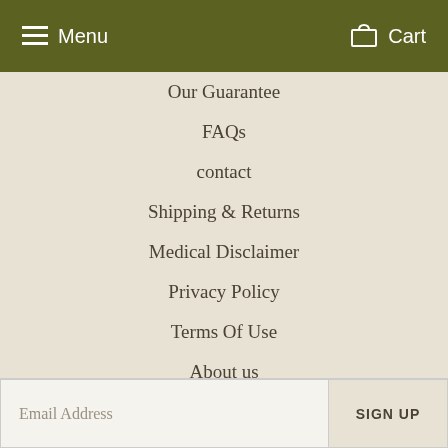Menu   Cart
Our Guarantee
FAQs
contact
Shipping & Returns
Medical Disclaimer
Privacy Policy
Terms Of Use
About us
Newsletter
Promotions, new products and sales. Directly to your inbox.